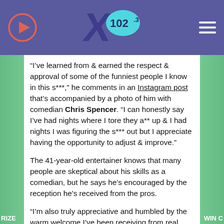[Figure (logo): X 102.3 radio station header with play button on the left, X102.3 logo in center, and hamburger menu icon on the right, on a purple background]
“I’ve learned from & earned the respect & approval of some of the funniest people I know in this s***,” he comments in an Instagram post that’s accompanied by a photo of him with comedian Chris Spencer. “I can honestly say I’ve had nights where I tore they a** up & I had nights I was figuring the s*** out but I appreciate having the opportunity to adjust & improve.”
The 41-year-old entertainer knows that many people are skeptical about his skills as a comedian, but he says he’s encouraged by the reception he’s received from the pros.
“I’m also truly appreciative and humbled by the warm welcome I’ve been receiving from real comedic vets in this s***. Allowing me the opportunity to learn, grow &